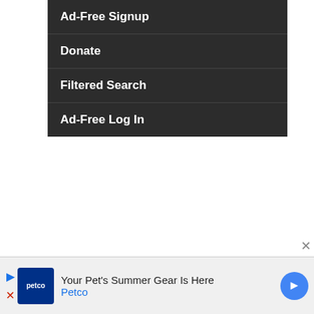Ad-Free Signup
Donate
Filtered Search
Ad-Free Log In
"in the rear view mirror the 'corpse' sits down."
BLATANT LIE
PolitiFact rating: False (Russian Propaganda)
Russia pushes false crisis actor claims about video from Bucha, Ukraine
[Figure (screenshot): Advertisement banner for Petco: 'Your Pet's Summer Gear Is Here' with Petco logo and navigation arrow]